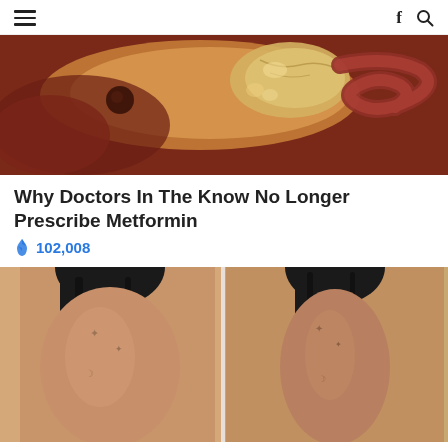☰  f 🔍
[Figure (photo): Medical/anatomical image showing internal organs, appears to be stomach or pancreas tissue, close-up photograph with reddish-brown and golden tones]
Why Doctors In The Know No Longer Prescribe Metformin
🔥 102,008
[Figure (photo): Before and after weight loss comparison photo showing woman's back with tattoos, left side showing more body mass, right side showing slimmer figure, both wearing black clothing]